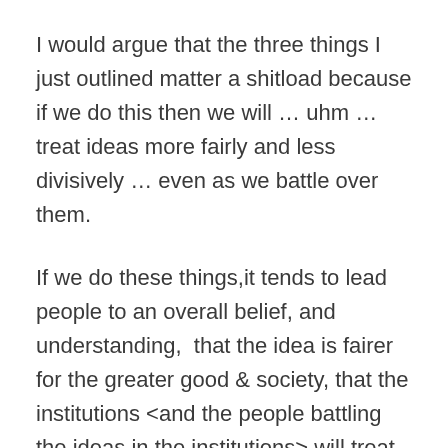I would argue that the three things I just outlined matter a shitload because if we do this then we will … uhm … treat ideas more fairly and less divisively … even as we battle over them.
If we do these things,it tends to lead people to an overall belief, and understanding,  that the idea is fairer for the greater good & society, that the institutions <and the people battling the ideas in the institutions> will treat them more fairly and the world, in general, will